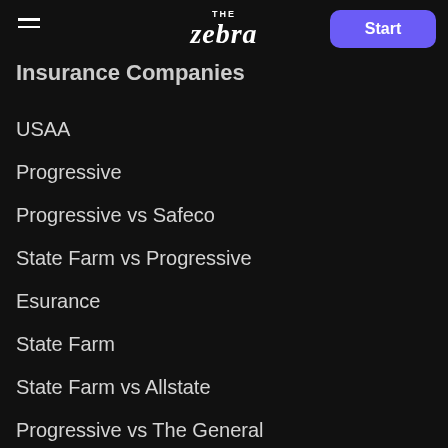THE Zebra | Start
Insurance Companies
USAA
Progressive
Progressive vs Safeco
State Farm vs Progressive
Esurance
State Farm
State Farm vs Allstate
Progressive vs The General
Erie
Travelers
Metromile vs Root